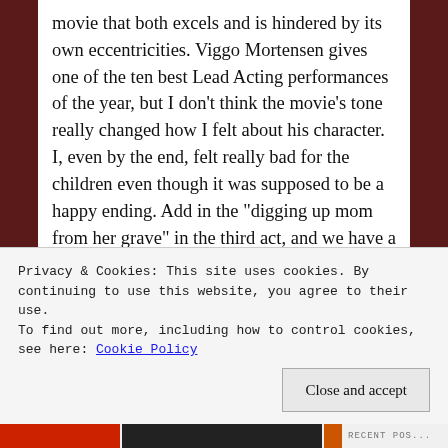movie that both excels and is hindered by its own eccentricities. Viggo Mortensen gives one of the ten best Lead Acting performances of the year, but I don't think the movie's tone really changed how I felt about his character. I, even by the end, felt really bad for the children even though it was supposed to be a happy ending. Add in the "digging up mom from her grave" in the third act, and we have a tale of two films: one philosophical and interesting, one messy and too melodramatic.
Privacy & Cookies: This site uses cookies. By continuing to use this website, you agree to their use.
To find out more, including how to control cookies, see here: Cookie Policy
Close and accept